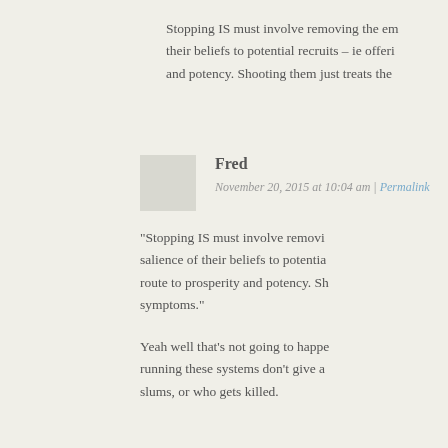Stopping IS must involve removing the em... their beliefs to potential recruits – ie offeri... and potency. Shooting them just treats the...
Fred
November 20, 2015 at 10:04 am | Permalink
“Stopping IS must involve removi... salience of their beliefs to potentia... route to prosperity and potency. Sh... symptoms.”
Yeah well that’s not going to happe... running these systems don’t give a... slums, or who gets killed.